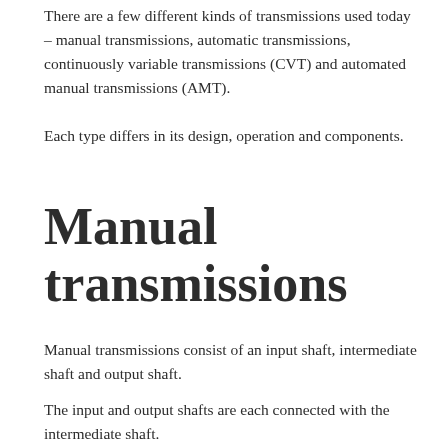There are a few different kinds of transmissions used today – manual transmissions, automatic transmissions, continuously variable transmissions (CVT) and automated manual transmissions (AMT).
Each type differs in its design, operation and components.
Manual transmissions
Manual transmissions consist of an input shaft, intermediate shaft and output shaft.
The input and output shafts are each connected with the intermediate shaft.